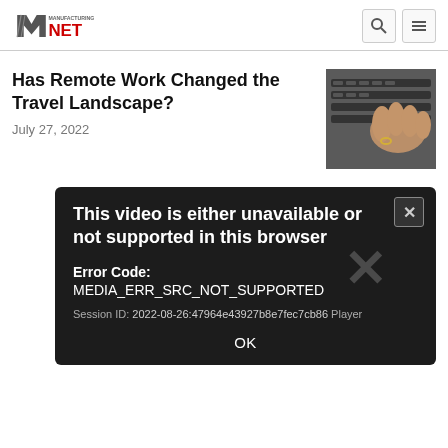Manufacturing.net logo with search and menu icons
Has Remote Work Changed the Travel Landscape?
July 27, 2022
[Figure (photo): Hands typing on a laptop keyboard]
[Figure (screenshot): Video error dialog: 'This video is either unavailable or not supported in this browser'. Error Code: MEDIA_ERR_SRC_NOT_SUPPORTED. Session ID: 2022-08-26:47964e43927b8e7fec7cb86 Player. OK button.]